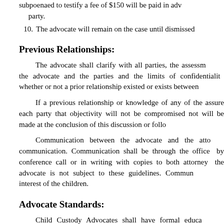subpoenaed to testify a fee of $150 will be paid in advance by that party.
10. The advocate will remain on the case until dismissed
Previous Relationships:
The advocate shall clarify with all parties, the assessment the advocate and the parties and the limits of confidentiality whether or not a prior relationship existed or exists between
If a previous relationship or knowledge of any of the assure each party that objectivity will not be compromised not will be made at the conclusion of this discussion or follo
Communication between the advocate and the atto communication. Communication shall be through the office by conference call or in writing with copies to both attorney the advocate is not subject to these guidelines. Commun interest of the children.
Advocate Standards:
Child Custody Advocates shall have formal educa relationships, interviewing techniques, family systems, child service by referral process, objectivity, children's rights, and